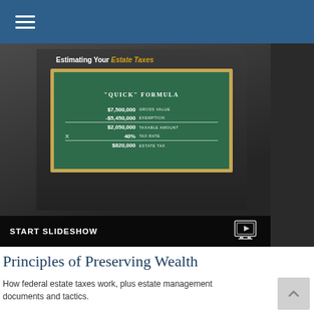Navigation bar with hamburger menu
[Figure (screenshot): Tablet device showing a chalkboard with estate tax 'Quick' Formula: $7,500,000 Gross Value minus -$5,450,000 Exemption equals $2,050,000 Taxable Amount times 40% Tax Rate equals $820,000 Estate Tax. Title reads 'Estimating Your Estate Taxes'. Bottom bar shows 'START SLIDESHOW' with a play icon.]
Principles of Preserving Wealth
How federal estate taxes work, plus estate management documents and tactics.